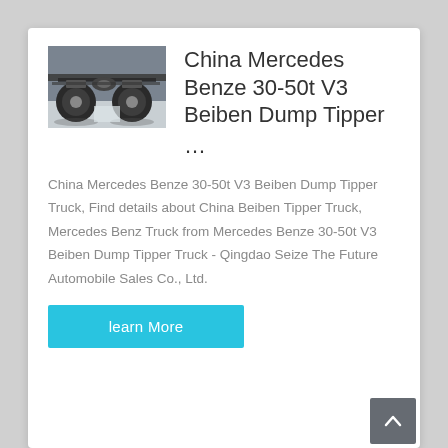[Figure (photo): Undercarriage view of a heavy truck showing axle, wheels and chassis components]
China Mercedes Benze 30-50t V3 Beiben Dump Tipper ...
China Mercedes Benze 30-50t V3 Beiben Dump Tipper Truck, Find details about China Beiben Tipper Truck, Mercedes Benz Truck from Mercedes Benze 30-50t V3 Beiben Dump Tipper Truck - Qingdao Seize The Future Automobile Sales Co., Ltd.
learn More